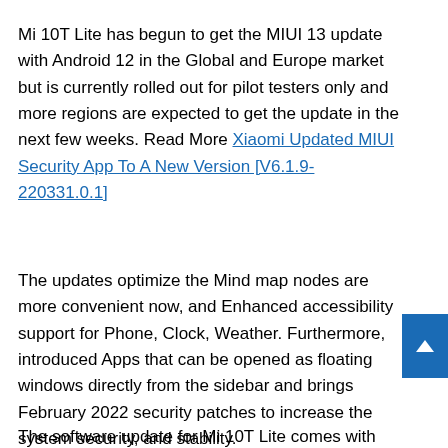Mi 10T Lite has begun to get the MIUI 13 update with Android 12 in the Global and Europe market but is currently rolled out for pilot testers only and more regions are expected to get the update in the next few weeks. Read More Xiaomi Updated MIUI Security App To A New Version [V6.1.9-220331.0.1]
The updates optimize the Mind map nodes are more convenient now, and Enhanced accessibility support for Phone, Clock, Weather. Furthermore, introduced Apps that can be opened as floating windows directly from the sidebar and brings February 2022 security patches to increase the system security, and stability.
The software update for Mi 10T Lite comes with the build